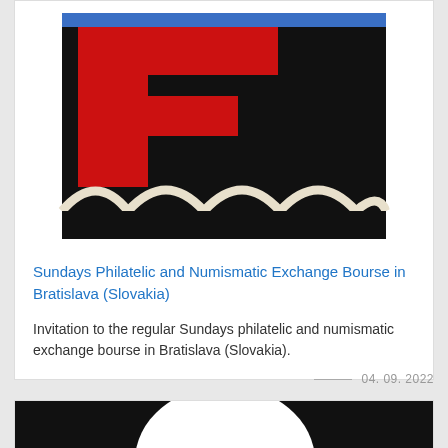[Figure (logo): Philatelic and numismatic exchange bourse logo — black background with a large red stylized letter F shape, blue accent at top, and cream/white arch decorative border at the bottom, within a white-bordered frame.]
Sundays Philatelic and Numismatic Exchange Bourse in Bratislava (Slovakia)
Invitation to the regular Sundays philatelic and numismatic exchange bourse in Bratislava (Slovakia).
04. 09. 2022
[Figure (photo): Partial view of a circular object on a black background, cropped at bottom of page.]